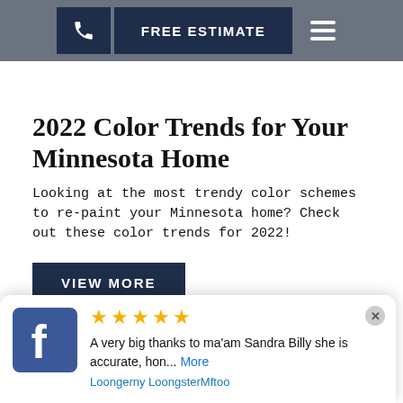FREE ESTIMATE
2022 Color Trends for Your Minnesota Home
Looking at the most trendy color schemes to re-paint your Minnesota home? Check out these color trends for 2022!
VIEW MORE
★★★★★ A very big thanks to ma'am Sandra Billy she is accurate, hon... More
Loongerny LoongsterMftoo